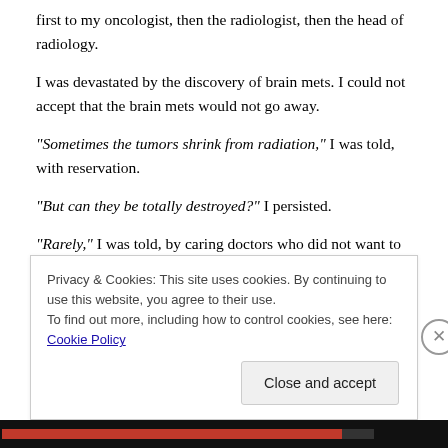first to my oncologist, then the radiologist, then the head of radiology.
I was devastated by the discovery of brain mets. I could not accept that the brain mets would not go away.
“Sometimes the tumors shrink from radiation,” I was told, with reservation.
“But can they be totally destroyed?” I persisted.
“Rarely,” I was told, by caring doctors who did not want to
Privacy & Cookies: This site uses cookies. By continuing to use this website, you agree to their use.
To find out more, including how to control cookies, see here: Cookie Policy